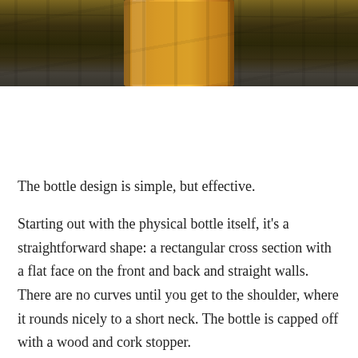[Figure (photo): Partial photo of a whiskey bottle with amber liquid visible at top, resting on a wooden surface with visible wood grain]
The bottle design is simple, but effective.
Starting out with the physical bottle itself, it's a straightforward shape: a rectangular cross section with a flat face on the front and back and straight walls. There are no curves until you get to the shoulder, where it rounds nicely to a short neck. The bottle is capped off with a wood and cork stopper.
I've seen bottles like this, but I've never seen this specific one before. It reminds me of a simplified version of the Whistle Pig bottle.